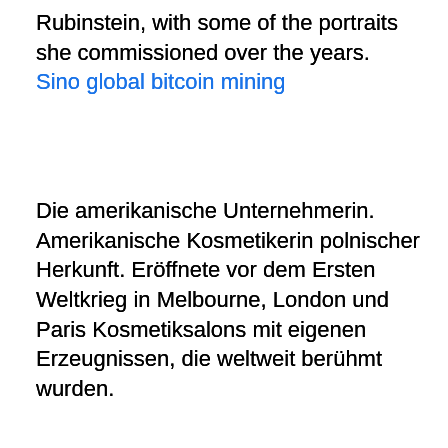Rubinstein, with some of the portraits she commissioned over the years.
Sino global bitcoin mining
Die amerikanische Unternehmerin. Amerikanische Kosmetikerin polnischer Herkunft. Eröffnete vor dem Ersten Weltkrieg in Melbourne, London und Paris Kosmetiksalons mit eigenen Erzeugnissen, die weltweit berühmt wurden.
From Wikipedia, the free encyclopedia Helena Rubinstein (born Chaja Rubinstein; December 25, 1872 – April 1, 1965) was a Polish-American businesswoman, art collector, and philanthropist. A cosmetics entrepreneur, she was the founder and eponym of Helena Rubinstein Incorporated cosmetics company, which made her one of the